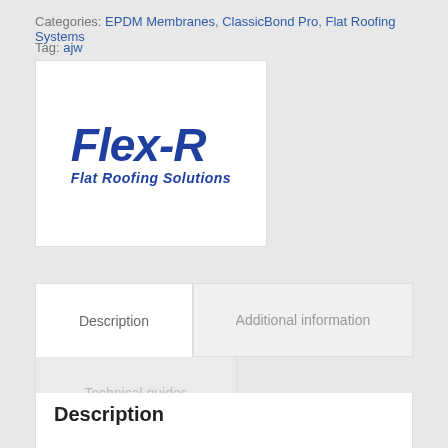Categories: EPDM Membranes, ClassicBond Pro, Flat Roofing Systems
Tag: ajw
[Figure (logo): Flex-R Flat Roofing Solutions logo — bold italic blue text on white background]
Description
Additional information
Technical guides
Description